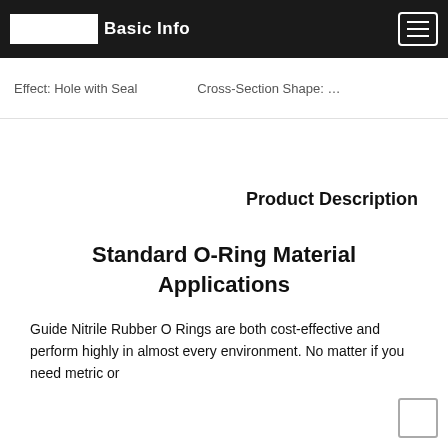Basic Info
Effect: Hole with Seal    Cross-Section Shape: …
Product Description
Standard O-Ring Material Applications
Guide Nitrile Rubber O Rings are both cost-effective and perform highly in almost every environment. No matter if you need metric or